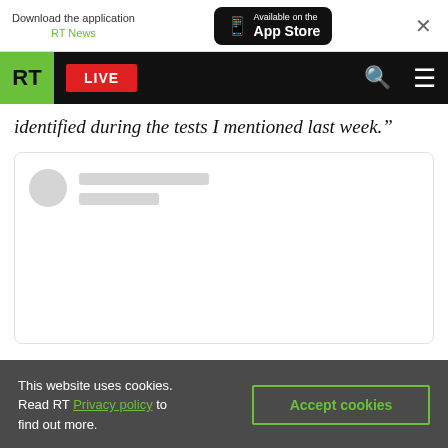[Figure (screenshot): App download banner with RT News logo, Available on the App Store button, and close X]
[Figure (screenshot): RT navigation bar with green RT logo, red LIVE button, search icon, and hamburger menu]
identified during the tests I mentioned last week.”
[Figure (screenshot): Social media embed loading placeholder with avatar circle and grey lines]
This website uses cookies. Read RT Privacy policy to find out more.